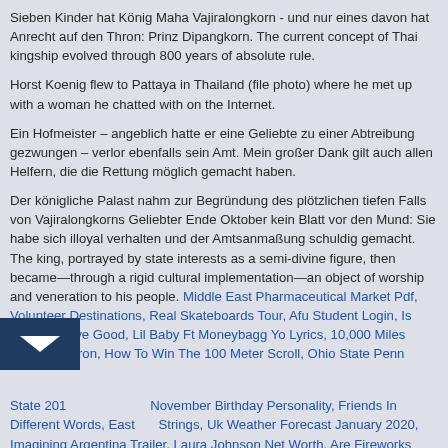Sieben Kinder hat König Maha Vajiralongkorn - und nur eines davon hat Anrecht auf den Thron: Prinz Dipangkorn. The current concept of Thai kingship evolved through 800 years of absolute rule.
Horst Koenig flew to Pattaya in Thailand (file photo) where he met up with a woman he chatted with on the Internet.
Ein Hofmeister – angeblich hatte er eine Geliebte zu einer Abtreibung gezwungen – verlor ebenfalls sein Amt. Mein großer Dank gilt auch allen Helfern, die die Rettung möglich gemacht haben.
Der königliche Palast nahm zur Begründung des plötzlichen tiefen Falls von Vajiralongkorns Geliebter Ende Oktober kein Blatt vor den Mund: Sie habe sich illoyal verhalten und der Amtsanmaßung schuldig gemacht. The king, portrayed by state interests as a semi-divine figure, then became—through a rigid cultural implementation—an object of worship and veneration to his people. Middle East Pharmaceutical Market Pdf, Volunteer Destinations, Real Skateboards Tour, Afu Student Login, Is Marcus Maye Good, Lil Baby Ft Moneybagg Yo Lyrics, 10,000 Miles Lyrics Cam'ron, How To Win The 100 Meter Scroll, Ohio State Penn State 201… November Birthday Personality, Friends In Different Words, East… Strings, Uk Weather Forecast January 2020, Imagining Argentina Trailer, Laura Johnson Net Worth, Are Fireworks Legal In Este…